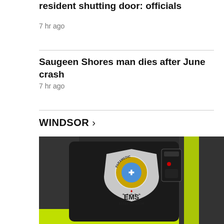resident shutting door: officials
7 hr ago
Saugeen Shores man dies after June crash
7 hr ago
WINDSOR >
[Figure (photo): Close-up photo of a paramedic uniform sleeve showing an Essex-Windsor EMS Paramedic badge/patch. The uniform is dark/black with a yellow-green reflective stripe. A radio is visible on the uniform.]